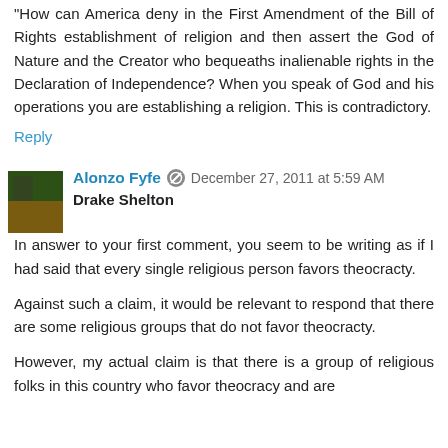"How can America deny in the First Amendment of the Bill of Rights establishment of religion and then assert the God of Nature and the Creator who bequeaths inalienable rights in the Declaration of Independence? When you speak of God and his operations you are establishing a religion. This is contradictory.
Reply
Alonzo Fyfe  December 27, 2011 at 5:59 AM
Drake Shelton
In answer to your first comment, you seem to be writing as if I had said that every single religious person favors theocracty.
Against such a claim, it would be relevant to respond that there are some religious groups that do not favor theocracty.
However, my actual claim is that there is a group of religious folks in this country who favor theocracy and are